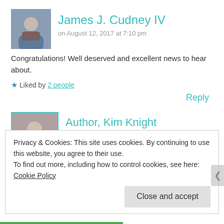James J. Cudney IV
on August 12, 2017 at 7:10 pm
Congratulations! Well deserved and excellent news to hear about.
★ Liked by 2 people
Reply
Author, Kim Knight
on August 12, 2017 at 7:24 pm
Privacy & Cookies: This site uses cookies. By continuing to use this website, you agree to their use. To find out more, including how to control cookies, see here: Cookie Policy
Close and accept